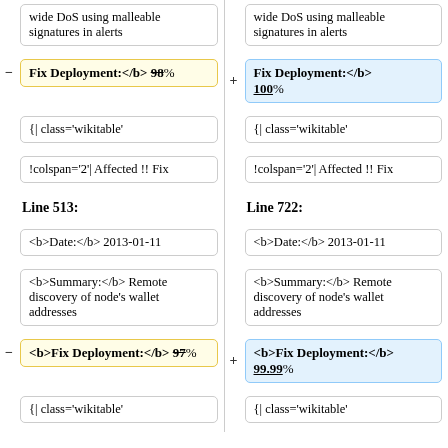wide DoS using malleable signatures in alerts
wide DoS using malleable signatures in alerts
<b>Fix Deployment:</b> 98%
<b>Fix Deployment:</b> 100%
{| class='wikitable'
{| class='wikitable'
!colspan='2'| Affected !! Fix
!colspan='2'| Affected !! Fix
Line 513:
Line 722:
<b>Date:</b> 2013-01-11
<b>Date:</b> 2013-01-11
<b>Summary:</b> Remote discovery of node's wallet addresses
<b>Summary:</b> Remote discovery of node's wallet addresses
<b>Fix Deployment:</b> 97%
<b>Fix Deployment:</b> 99.99%
{| class='wikitable'
{| class='wikitable'